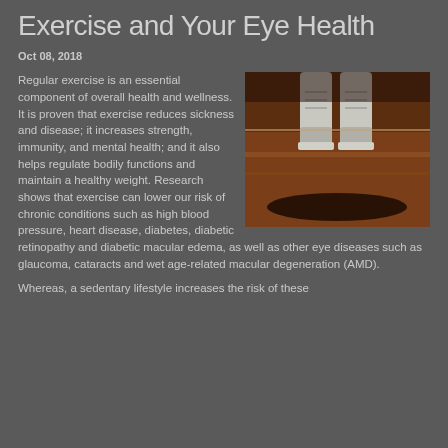Exercise and Your Eye Health
Oct 08, 2018
[Figure (photo): Close-up photo of a person's feet in white sneakers jumping or running on a wooden floor surface, taken from a low angle]
Regular exercise is an essential component of overall health and wellness. It is proven that exercise reduces sickness and disease; it increases strength, immunity, and mental health; and it also helps regulate bodily functions and maintain a healthy weight. Research shows that exercise can lower our risk of chronic conditions such as high blood pressure, heart disease, diabetes, diabetic retinopathy and diabetic macular edema, as well as other eye diseases such as glaucoma, cataracts and wet age-related macular degeneration (AMD).
Whereas, a sedentary lifestyle increases the risk of these